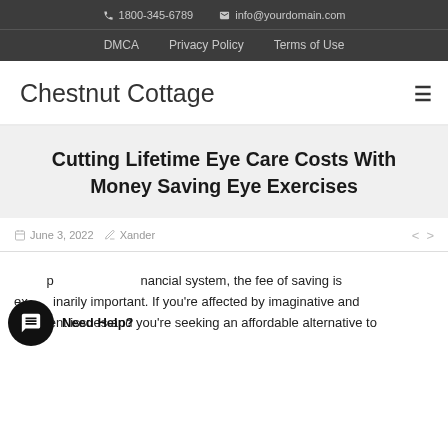☎ 1800-345-6789   ✉ info@yourdomain.com
DMCA   Privacy Policy   Terms of Use
Chestnut Cottage
Cutting Lifetime Eye Care Costs With Money Saving Eye Exercises
June 3, 2022   Xander
I...p ...nancial system, the fee of saving is ex...inarily important. If you're affected by imaginative and prescient issues and you're seeking an affordable alternative to